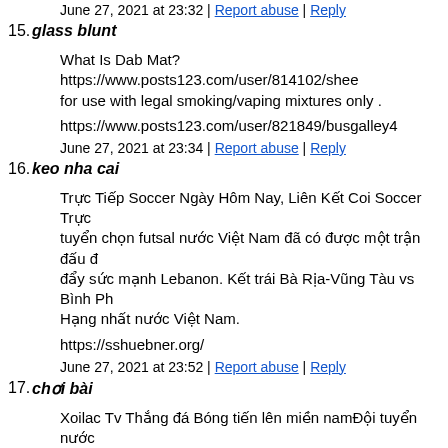June 27, 2021 at 23:32 | Report abuse | Reply
15. glass blunt
What Is Dab Mat?https://www.posts123.com/user/814102/shee for use with legal smoking/vaping mixtures only .
https://www.posts123.com/user/821849/busgalley4
June 27, 2021 at 23:34 | Report abuse | Reply
16. keo nha cai
Trực Tiếp Soccer Ngày Hôm Nay, Liên Kết Coi Soccer Trực tuyển chọn futsal nước Việt Nam đã có được một trận đấu đẩy sức mạnh Lebanon. Kết trái Bà Rịa-Vũng Tàu vs Bình Ph Hạng nhất nước Việt Nam.
https://sshuebner.org/
June 27, 2021 at 23:52 | Report abuse | Reply
17. chơi bài
Xoilac Tv Thắng đá Bóng tiến lên miền namĐội tuyển nước có bàn thắng nhằm lần thứ hai góp mặt trên World Cup futsa được điều này